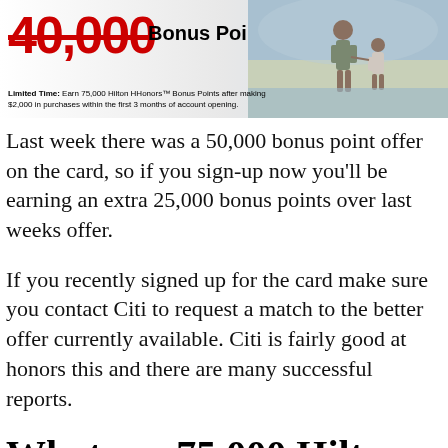[Figure (other): Banner image showing crossed-out number with 'Bonus Points' text and a photo of people at a beach, with small print about earning 75,000 Hilton HHonors Bonus Points after making $2,000 in purchases within the first 3 months of account opening.]
Last week there was a 50,000 bonus point offer on the card, so if you sign-up now you'll be earning an extra 25,000 bonus points over last weeks offer.
If you recently signed up for the card make sure you contact Citi to request a match to the better offer currently available. Citi is fairly good at honors this and there are many successful reports.
What are 75,000 Hilton HHonors Points Worth?